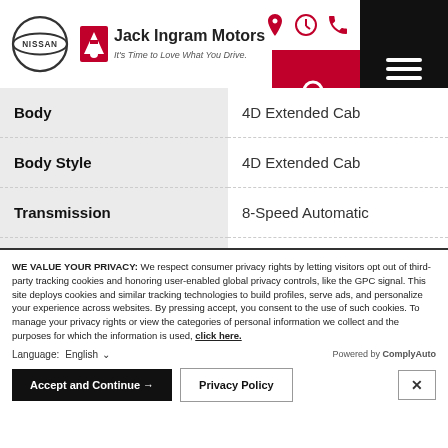[Figure (logo): Nissan logo and Jack Ingram Motors dealership logo with tagline 'It's Time to Love What You Drive.' and navigation icons]
| Attribute | Value |
| --- | --- |
| Body | 4D Extended Cab |
| Body Style | 4D Extended Cab |
| Transmission | 8-Speed Automatic |
| Transmission Description | 8-Speed Automatic |
WE VALUE YOUR PRIVACY: We respect consumer privacy rights by letting visitors opt out of third-party tracking cookies and honoring user-enabled global privacy controls, like the GPC signal. This site deploys cookies and similar tracking technologies to build profiles, serve ads, and personalize your experience across websites. By pressing accept, you consent to the use of such cookies. To manage your privacy rights or view the categories of personal information we collect and the purposes for which the information is used, click here.
Language: English    Powered by ComplyAuto
Accept and Continue →   Privacy Policy   ×